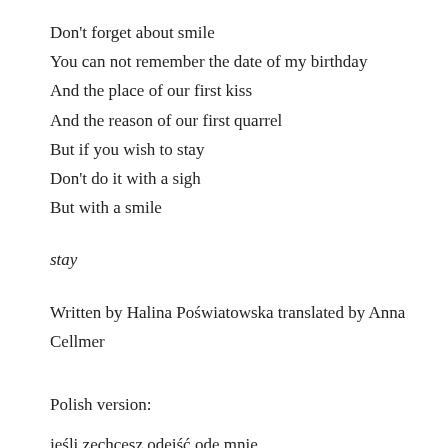Don't forget about smile
You can not remember the date of my birthday
And the place of our first kiss
And the reason of our first quarrel
But if you wish to stay
Don't do it with a sigh
But with a smile
stay
Written by Halina Poświatowska translated by Anna Cellmer
Polish version:
jeśli zechcesz odejść ode mnie
nie zapominaj o uśmiechu
możesz zapomnieć kapelusza
rękawiczek notesu z ważnymi adresami